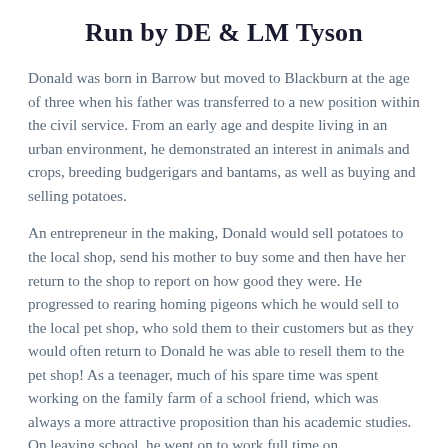Run by DE & LM Tyson
Donald was born in Barrow but moved to Blackburn at the age of three when his father was transferred to a new position within the civil service. From an early age and despite living in an urban environment, he demonstrated an interest in animals and crops, breeding budgerigars and bantams, as well as buying and selling potatoes.
An entrepreneur in the making, Donald would sell potatoes to the local shop, send his mother to buy some and then have her return to the shop to report on how good they were. He progressed to rearing homing pigeons which he would sell to the local pet shop, who sold them to their customers but as they would often return to Donald he was able to resell them to the pet shop! As a teenager, much of his spare time was spent working on the family farm of a school friend, which was always a more attractive proposition than his academic studies. On leaving school, he went on to work full time on